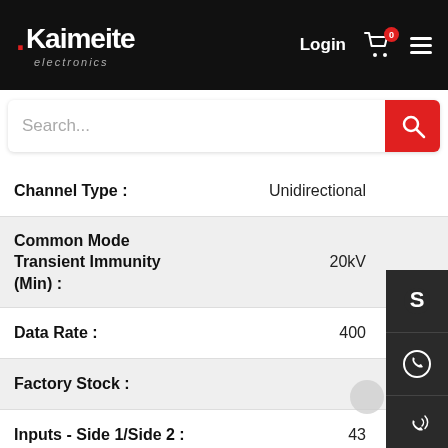[Figure (screenshot): Kaimeite electronics website header with logo, Login, cart icon (0 items), and hamburger menu on black background]
Search...
| Attribute | Value |
| --- | --- |
| Channel Type : | Unidirectional |
| Common Mode Transient Immunity (Min) : | 20kV |
| Data Rate : | 400 |
| Factory Stock : |  |
| Inputs - Side 1/Side 2 : | 43 |
| Isolated Power : |  |
| Minimum Quantity : | 2 |
[Figure (infographic): Right sidebar with Skype, WhatsApp, phone, email icons and QR code]